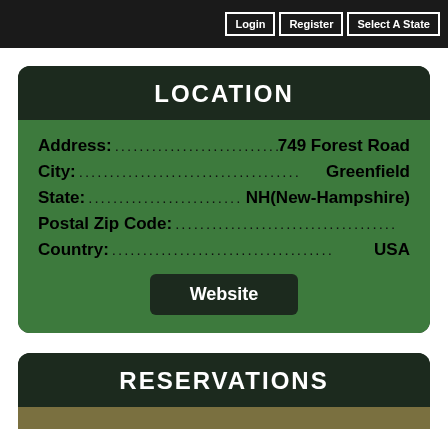Login | Register | Select A State
LOCATION
Address: 749 Forest Road
City: Greenfield
State: NH(New-Hampshire)
Postal Zip Code:
Country: USA
Website
RESERVATIONS